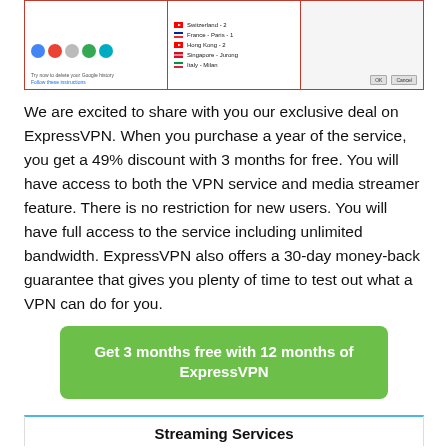[Figure (screenshot): Screenshot of ExpressVPN application interface showing server location list including Switzerland, France-Paris, Hong Kong, Singapore-Jurong, Italy-Milan, alongside browser icons and dialog buttons]
We are excited to share with you our exclusive deal on ExpressVPN. When you purchase a year of the service, you get a 49% discount with 3 months for free. You will have access to both the VPN service and media streamer feature. There is no restriction for new users. You will have full access to the service including unlimited bandwidth. ExpressVPN also offers a 30-day money-back guarantee that gives you plenty of time to test out what a VPN can do for you.
Get 3 months free with 12 months of ExpressVPN
Streaming Services